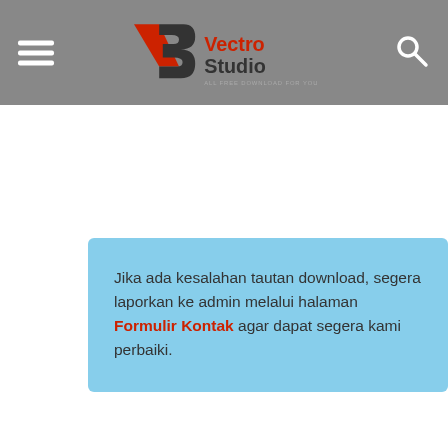VectroStudio — ALL FREE DOWNLOAD FOR YOU
Jika ada kesalahan tautan download, segera laporkan ke admin melalui halaman Formulir Kontak agar dapat segera kami perbaiki.